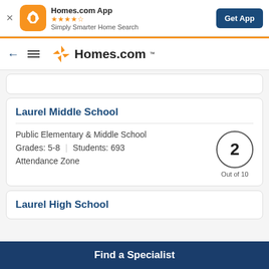[Figure (screenshot): Homes.com app banner with orange app icon, star rating, tagline, and Get App button]
[Figure (logo): Homes.com logo with orange pinwheel icon and navigation bar]
Laurel Middle School
Public Elementary & Middle School
Grades: 5-8  |  Students: 693
Attendance Zone
2 Out of 10
Laurel High School
Find a Specialist